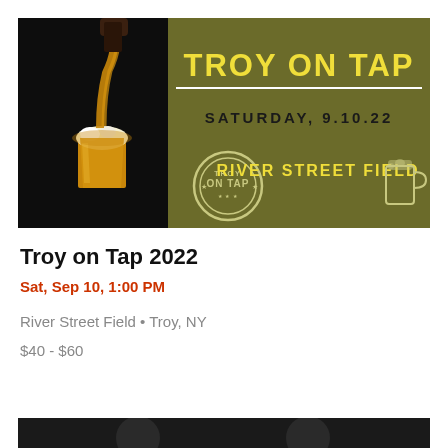[Figure (photo): Troy on Tap 2022 event banner. Left side shows a photo of beer being poured into a glass on a dark background. Right side has an olive/army green background with the text 'TROY ON TAP' in large yellow bold letters, a white horizontal divider, 'SATURDAY, 9.10.22' in dark spaced letters, and 'RIVER STREET FIELD' in yellow bold letters. A circular stamp logo reading 'TROY ON TAP' appears at the bottom left of the banner, and a beer mug illustration at the bottom right.]
Troy on Tap 2022
Sat, Sep 10, 1:00 PM
River Street Field • Troy, NY
$40 - $60
[Figure (photo): Partial view of a black and white photograph at the bottom of the page, partially cut off.]